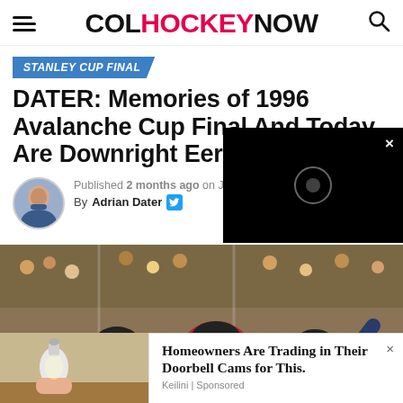COLHOCKEYNOW
STANLEY CUP FINAL
DATER: Memories of 1996 Avalanche Cup Final And Today Are Downright Eerie
Published 2 months ago on June 1
By Adrian Dater
[Figure (photo): Colorado Avalanche hockey players huddled together in red jerseys, #35 and LEMIEUX visible, celebrating on ice with crowd in background]
Homeowners Are Trading in Their Doorbell Cams for This. Keilini | Sponsored